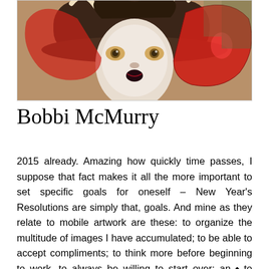[Figure (illustration): Digital surrealist painting of a pale woman's face with wide amber eyes, wearing a large brown hat, surrounded by large red butterfly wings and animal horns against a golden-brown background]
Bobbi McMurry
2015 already. Amazing how quickly time passes, I suppose that fact makes it all the more important to set specific goals for oneself – New Year's Resolutions are simply that, goals. And mine as they relate to mobile artwork are these: to organize the multitude of images I have accumulated; to be able to accept compliments; to think more before beginning to work, to always be willing to start over; and to devote time to shooting, rather than shooting during the course of my day to day. Thank you all for the continual inspiration – happy creating in 2015!